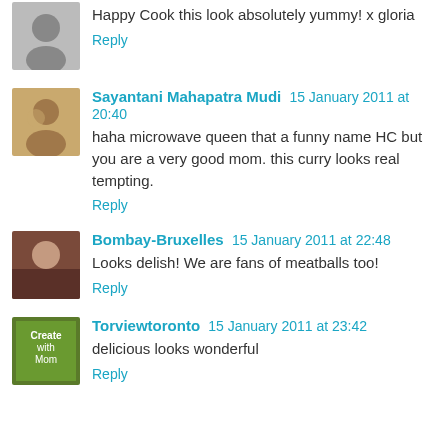Happy Cook this look absolutely yummy! x gloria
Reply
Sayantani Mahapatra Mudi  15 January 2011 at 20:40
haha microwave queen that a funny name HC but you are a very good mom. this curry looks real tempting.
Reply
Bombay-Bruxelles  15 January 2011 at 22:48
Looks delish! We are fans of meatballs too!
Reply
Torviewtoronto  15 January 2011 at 23:42
delicious looks wonderful
Reply